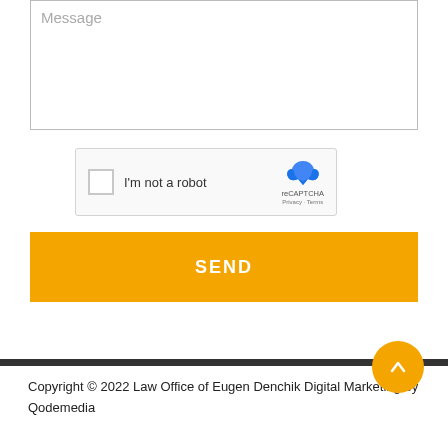Message
[Figure (other): reCAPTCHA widget with checkbox labeled I'm not a robot and reCAPTCHA logo with Privacy and Terms links]
SEND
Copyright © 2022 Law Office of Eugen Denchik Digital Marketing by Qodemedia